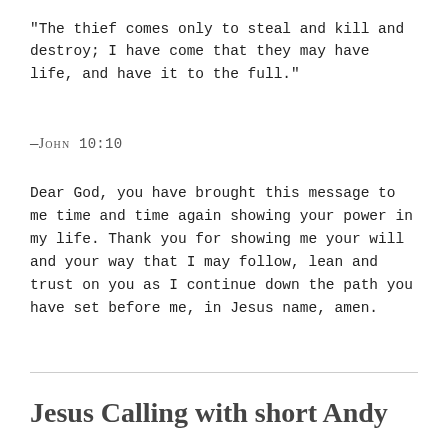“The thief comes only to steal and kill and destroy; I have come that they may have life, and have it to the full.”
—John 10:10
Dear God, you have brought this message to me time and time again showing your power in my life. Thank you for showing me your will and your way that I may follow, lean and trust on you as I continue down the path you have set before me, in Jesus name, amen.
Jesus Calling with short Andy